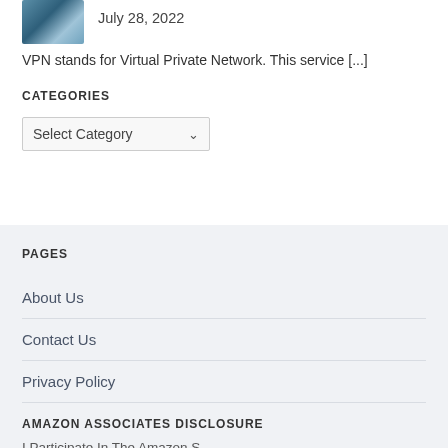[Figure (photo): Small thumbnail image of a globe or network-related photo]
July 28, 2022
VPN stands for Virtual Private Network. This service [...]
CATEGORIES
Select Category
PAGES
About Us
Contact Us
Privacy Policy
AMAZON ASSOCIATES DISCLOSURE
I Participate In The Amazon S...